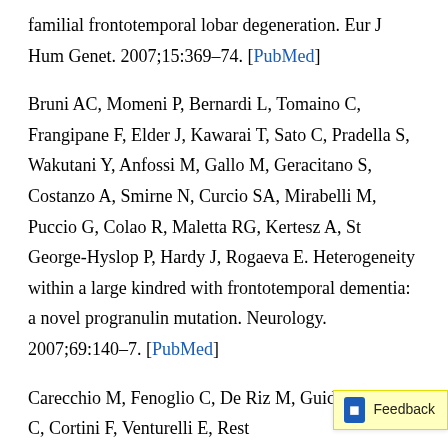familial frontotemporal lobar degeneration. Eur J Hum Genet. 2007;15:369–74. [PubMed]
Bruni AC, Momeni P, Bernardi L, Tomaino C, Frangipane F, Elder J, Kawarai T, Sato C, Pradella S, Wakutani Y, Anfossi M, Gallo M, Geracitano S, Costanzo A, Smirne N, Curcio SA, Mirabelli M, Puccio G, Colao R, Maletta RG, Kertesz A, St George-Hyslop P, Hardy J, Rogaeva E. Heterogeneity within a large kindred with frontotemporal dementia: a novel progranulin mutation. Neurology. 2007;69:140–7. [PubMed]
Carecchio M, Fenoglio C, De Riz M, Guidi I, Comi C, Cortini F, Venturelli E, Rest…